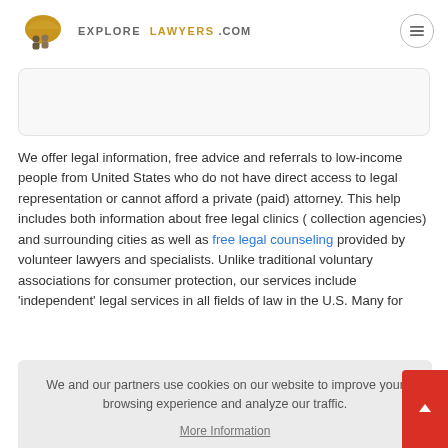EXPLORE LAWYERS.COM
[Figure (other): Gray card/box placeholder at top of page]
We offer legal information, free advice and referrals to low-income people from United States who do not have direct access to legal representation or cannot afford a private (paid) attorney. This help includes both information about free legal clinics ( collection agencies) and surrounding cities as well as free legal counseling provided by volunteer lawyers and specialists. Unlike traditional voluntary associations for consumer protection, our services include 'independent' legal services in all fields of law in the U.S. Many for... ...t ...d ...by anyone who suddenly finds himself in a difficult life situation and
We and our partners use cookies on our website to improve your browsing experience and analyze our traffic. More Information Got it